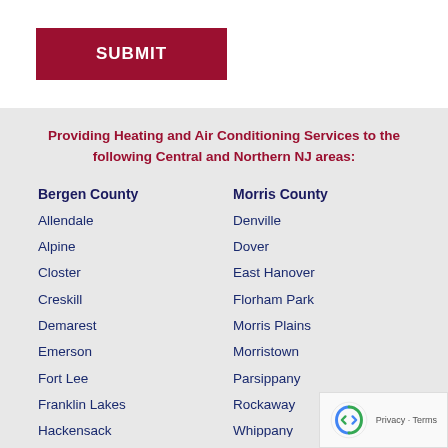SUBMIT
Providing Heating and Air Conditioning Services to the following Central and Northern NJ areas:
Bergen County
Allendale
Alpine
Closter
Creskill
Demarest
Emerson
Fort Lee
Franklin Lakes
Hackensack
Morris County
Denville
Dover
East Hanover
Florham Park
Morris Plains
Morristown
Parsippany
Rockaway
Whippany